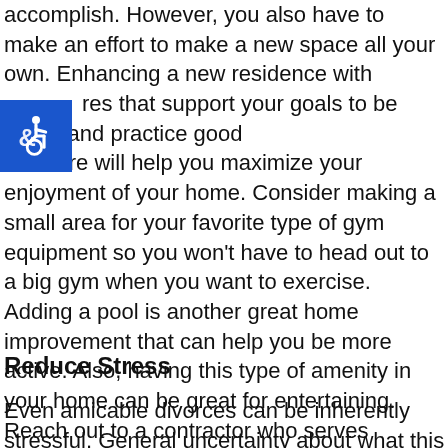accomplish. However, you also have to make an effort to make a new space all your own. Enhancing a new residence with features that support your goals to be active and practice good self-care will help you maximize your enjoyment of your home. Consider making a small area for your favorite type of gym equipment so you won't have to head out to a big gym when you want to exercise. Adding a pool is another great home improvement that can help you be more active. Also, having this type of amenity in your home can be great for entertaining. Reach out to a contractor who serves residential customers near you. If you're interested in custom pools San Antonio, work with a company that can help you design a pool that fits your new space perfectly.
[Figure (illustration): Blue accessibility icon button with wheelchair symbol]
Reduce Stress
Even amicable divorces can be inherently stressful. General uncertainty about what this new phase of your life will be like in addition to specific concerns about important matters such as